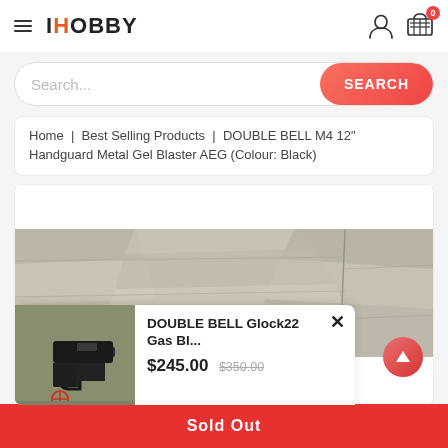IHOBBY
Search...
Home | Best Selling Products | DOUBLE BELL M4 12" Handguard Metal Gel Blaster AEG (Colour: Black)
[Figure (screenshot): Product page showing stone texture background with a product popup card. The popup card shows a Glock pistol image, title 'DOUBLE BELL Glock22 Gas Bl...', price $245.00 with strikethrough $350.00, and a close (x) button. A red scroll-up button is visible on the right side.]
DOUBLE BELL Glock22 Gas Bl...
$245.00 $350.00
Sold Out